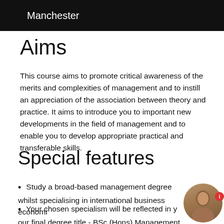Manchester
Aims
This course aims to promote critical awareness of the merits and complexities of management and to instill an appreciation of the association between theory and practice. It aims to introduce you to important new developments in the field of management and to enable you to develop appropriate practical and transferable skills.
Special features
Study a broad-based management degree whilst specialising in international business economics
Your chosen specialism will be reflected in your final degree title - BSc (Hons) Management